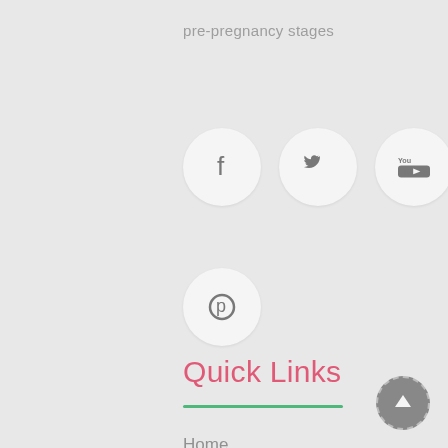pre-pregnancy stages
[Figure (illustration): Row of social media icon circles: Facebook (f), Twitter (bird), YouTube (You Tube), LinkedIn (in)]
[Figure (illustration): Pinterest icon circle (p circle logo)]
Quick Links
Home
About
Gallery
[Figure (illustration): Back to top button: grey circle with dashed border and upward arrow]